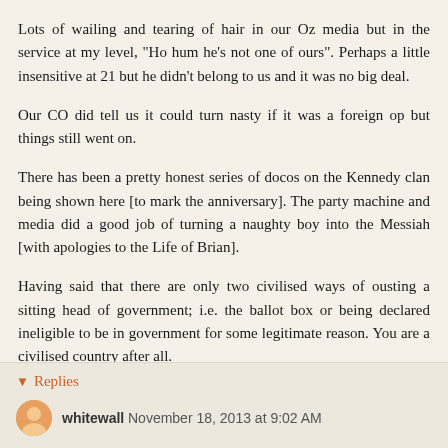Lots of wailing and tearing of hair in our Oz media but in the service at my level, "Ho hum he's not one of ours". Perhaps a little insensitive at 21 but he didn't belong to us and it was no big deal.
Our CO did tell us it could turn nasty if it was a foreign op but things still went on.
There has been a pretty honest series of docos on the Kennedy clan being shown here [to mark the anniversary]. The party machine and media did a good job of turning a naughty boy into the Messiah [with apologies to the Life of Brian].
Having said that there are only two civilised ways of ousting a sitting head of government; i.e. the ballot box or being declared ineligible to be in government for some legitimate reason. You are a civilised country after all.
Reply
Replies
whitewall November 18, 2013 at 9:02 AM